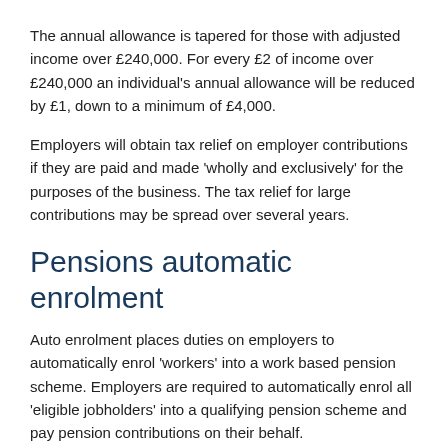The annual allowance is tapered for those with adjusted income over £240,000. For every £2 of income over £240,000 an individual's annual allowance will be reduced by £1, down to a minimum of £4,000.
Employers will obtain tax relief on employer contributions if they are paid and made 'wholly and exclusively' for the purposes of the business. The tax relief for large contributions may be spread over several years.
Pensions automatic enrolment
Auto enrolment places duties on employers to automatically enrol 'workers' into a work based pension scheme. Employers are required to automatically enrol all 'eligible jobholders' into a qualifying pension scheme and pay pension contributions on their behalf.
Employer minimum contribution: 3%
Total minimum contribution: 8%